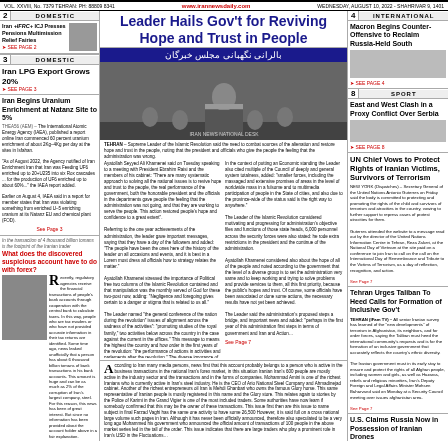VOL. XXVIII, No. 7379 TEHRAN, PH: 88809 8341 | www.irannewsdaily.com | WEDNESDAY, AUGUST 10, 2022 - SHAHRIVAR 9, 1401
DOMESTIC
Leader Hails Gov't for Reviving Hope and Trust in People
TEHRAN – Supreme Leader of the Islamic Revolution said the need to combat sources of the alienation and restore hope and trust in the people, noting that the president and officials who give the people the feeling that the administration was wrong.
[Figure (photo): Photo of Supreme Leader speaking at podium with officials seated in background]
Ayatollah Seyyed Ali Khamenei said on Tuesday speaking to a meeting with President Ebrahim Raisi and the members of his cabinet: 'The only systematic approach to solving all the national issues is to revive hope and trust to the people, the real performance of the government, both the honorable president and the officials in the departments gave people the feeling that the administration was not going and that they are working to serve the people. This action restored people's hope and confidence to a great extent'.
DOMESTIC
Iran LPG Export Grows 20%
SEE PAGE 3
Iran Begins Uranium Enrichment at Natanz Site to 5%
TEHRAN (MNA) – The International Atomic Energy Agency (IAEA) published a report online Iran commenced 60 percent uranium enrichment of about 2Kg to 2Kg per day at the site in Isfahan.
As of August 2022, the Agency notified of Iran Enrichment Iran that Iran was Feeding UF6 enriched up to 20+U235 into six Rox cascades ... for the production of UF6 enriched up to about 60%... the IEA report added.
Earlier on August 4, IAEA said in a report for member states that Iran has been violating something from enriched U-5 enriching uranium at its Natanz EU and chemical plant (FOD).
What does the discovered suspicious account have to do with forex?
Recently, regulatory agencies receive the financial transactions of people's bank accounts through cooperation with the central bank to calculate taxes. In this way, people who are tax evaders or who have not provided accurate information in their tax returns are identified. Some time ago, news leaked unofficially that a person has about 6 thousand billion tomans of bank transactions in his bank accounts. This amount is huge and can be as much as 2% of the corruption of Iran's largest company, steel. For this reason, this news has been of great interest. But since no information has been provided about the account holder above in a fair explanation.
According to Iran many media, news, now that this criminal probability belongs to a person who is active in the transactions in the national Iran's forex market, in this situation Iranian's 600 people are mostly active in the industry sector and the transactions are in the form of companies. Mohammad Amini is one of the richest Iranians who is currently active in Iran's steel industry. He is the CEO of Ario National Steel Company and Ahmadinejad cabinet. Another of the richest entrepreneurs oil Iran is Mehdi Ghanbari who owns the famous Glory horse. This same representative of Iranian people is mostly registered in this name and the Glory store.
INTERNATIONAL
Macron Begins Counter-Offensive to Reclaim Russia-Held South
SEE PAGE 4
SPORT
East and West Clash in a Proxy Conflict Over Serbia
SEE PAGE 8
UN Chief Vows to Protect Rights of Iranian Victims, Survivors of Terrorism
NEW YORK (Dispatches) – Secretary General of the United Nations Antonio Guterres on Friday said the body is committed to protecting and promoting the rights of the child and survivors of terrorism and atrocities in the country, vowing to further support to repress cases of protest atrocities for them.
Guterres attended the website to a message read out by the director of the United Nations Information Centre in Tehran, Reza Zakeri, at the National Day of Vietnam at the site paid on a conference to join Iran to call on the call on the International Day of Remembrance and Tribute to the Victims of Terrorism.
SEE PAGE 7
Tehran Urges Taliban To Heed Calls for Formation of Inclusive Gov't
TEHRAN (IFam TV) – All senior Iranian survey has learned of the 'new developments' of terrorism in Afghanistan, its neighbors, and for order forces. saying the Taliban must heed the international community's requests and is for the formation of an inclusive government that accurately reflects the country's ethnic diversity.
The Iranian government must in its early stay to ensure and protect the rights of all Afghan people, including women and girls, as well as Hazaras, rebels and religious minorities, Iran's Deputy Foreign and Legal Affairs Minister Mohsen Baharvand said on Monday at a Security Council meeting over issues afghanistan area.
SEE PAGE 7
U.S. Claims Russia Now in Possession of Iranian Drones
TEHRAN (MNA) – The US, sources Russia is now in possession of weapons (MOAB) stolen from it that they are likely to be applied for use in Ukraine, said a senior US administration official.
The official, who spoke on condition of anonymity claimed the No All Biden national forces bodies have a long-term history of ideological and physical nature of work - a report which is a key of US work for use in it. The official said it is also part of a Russian missile from almost all such missiles.